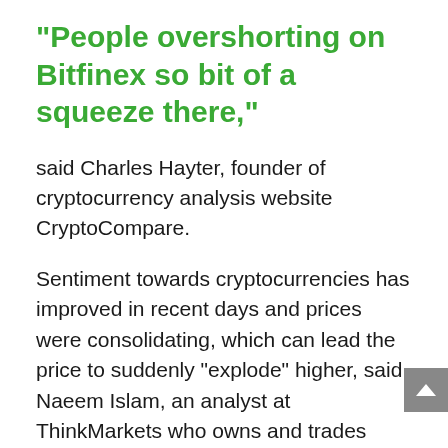“People overshorting on Bitfinex so bit of a squeeze there,”
said Charles Hayter, founder of cryptocurrency analysis website CryptoCompare.
Sentiment towards cryptocurrencies has improved in recent days and prices were consolidating, which can lead the price to suddenly “explode” higher, said Naeem Islam, an analyst at ThinkMarkets who owns and trades virtual currencies.
Quarter 2 never disappoints
BTC has registered gains in the second quarter every